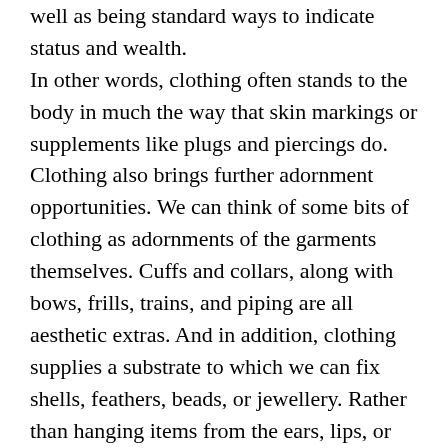well as being standard ways to indicate status and wealth. In other words, clothing often stands to the body in much the way that skin markings or supplements like plugs and piercings do. Clothing also brings further adornment opportunities. We can think of some bits of clothing as adornments of the garments themselves. Cuffs and collars, along with bows, frills, trains, and piping are all aesthetic extras. And in addition, clothing supplies a substrate to which we can fix shells, feathers, beads, or jewellery. Rather than hanging items from the ears, lips, or hair, we can fix them to the clothes instead. Headwear is not often worn exclusively for head safety or weather protection. It